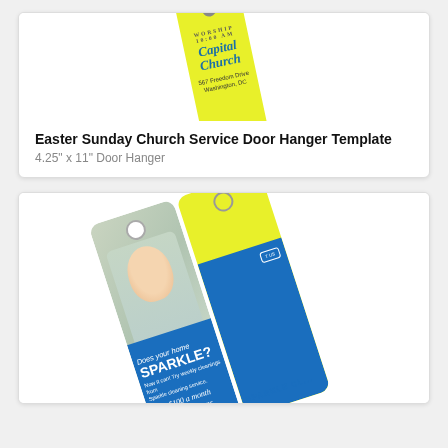[Figure (illustration): Door hanger template for Capital Church showing yellow door hanger with hole at top, church name in blue italic script, address 567 Freedom Drive, Washington, DC. Rotated at an angle.]
Easter Sunday Church Service Door Hanger Template
4.25" x 11" Door Hanger
[Figure (illustration): Door hanger template for Sparkle Cleaning service. Blue and yellow door hanger with photo of smiling woman, text 'Does your home SPARKLE?', 'Now it can! Try weekly cleanings from Sparkle cleaning service.', 'Save $100 a month with weekly cleans.', 'sparklecleaning.com'. Rotated at an angle showing both front and back panels.]